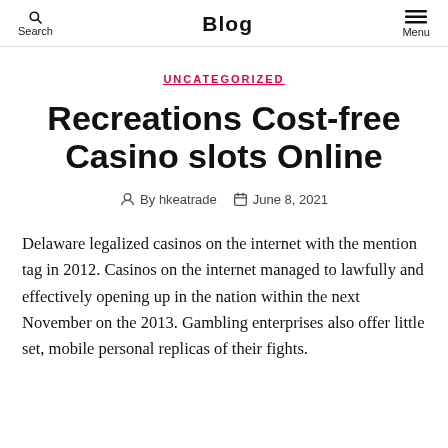Blog
UNCATEGORIZED
Recreations Cost-free Casino slots Online
By hkeatrade   June 8, 2021
Delaware legalized casinos on the internet with the mention tag in 2012. Casinos on the internet managed to lawfully and effectively opening up in the nation within the next November on the 2013. Gambling enterprises also offer little set, mobile personal replicas of their fights.